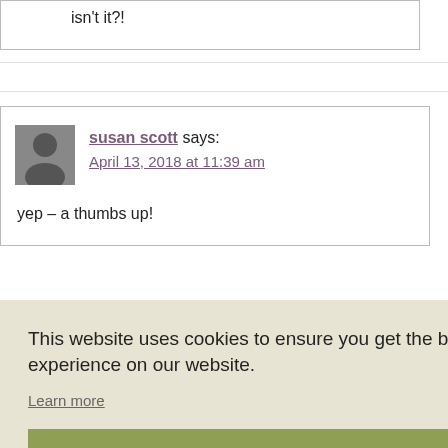isn't it?!
susan scott says: April 13, 2018 at 11:39 am
yep – a thumbs up!
This website uses cookies to ensure you get the best experience on our website.
Learn more
Got it!
it our : never hanks
Deborah